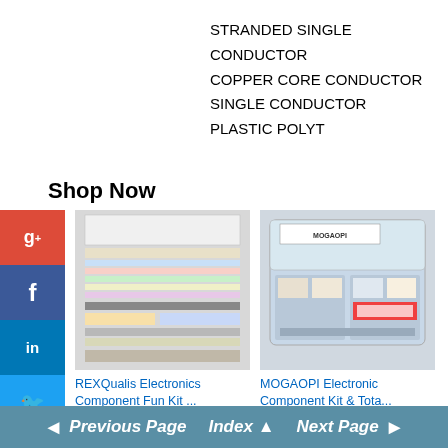STRANDED SINGLE CONDUCTOR
COPPER CORE CONDUCTOR SINGLE CONDUCTOR
PLASTIC POLYT
Shop Now
[Figure (screenshot): REXQualis Electronics Component Fun Kit product image showing a kit of various electronic components]
REXQualis Electronics Component Fun Kit ...
$16.99  $22.99  prime  ★★★★☆ (1762)
[Figure (screenshot): MOGAOPI Electronic Component Kit & Total product image showing a plastic case with components]
MOGAOPI Electronic Component Kit & Tota...
$25.99  prime  ★★★★☆ (172)
◄ Previous Page   Index ▲   Next Page ►